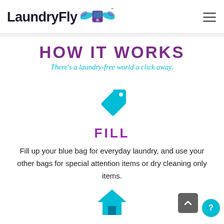[Figure (logo): LaundryFly logo with stylized text and icon of a washing machine with wings]
HOW IT WORKS
There's a laundry-free world a click away.
[Figure (illustration): Teal price tag / label icon]
FILL
Fill up your blue bag for everyday laundry, and use your other bags for special attention items or dry cleaning only items.
[Figure (illustration): Teal house / home icon]